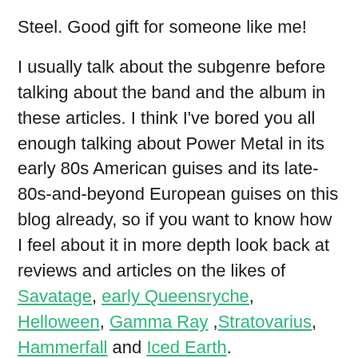Steel. Good gift for someone like me!
I usually talk about the subgenre before talking about the band and the album in these articles. I think I've bored you all enough talking about Power Metal in its early 80s American guises and its late-80s-and-beyond European guises on this blog already, so if you want to know how I feel about it in more depth look back at reviews and articles on the likes of Savatage, early Queensryche, Helloween, Gamma Ray ,Stratovarius, Hammerfall and Iced Earth.
Its mostly European Melodic Power Metal, and only a bit of the early USPM (by bands who are